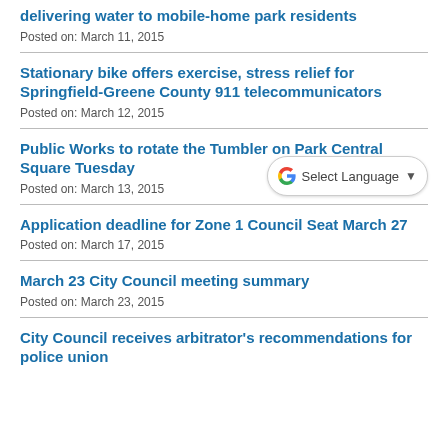delivering water to mobile-home park residents
Posted on: March 11, 2015
Stationary bike offers exercise, stress relief for Springfield-Greene County 911 telecommunicators
Posted on: March 12, 2015
Public Works to rotate the Tumbler on Park Central Square Tuesday
Posted on: March 13, 2015
Application deadline for Zone 1 Council Seat March 27
Posted on: March 17, 2015
March 23 City Council meeting summary
Posted on: March 23, 2015
City Council receives arbitrator's recommendations for police union